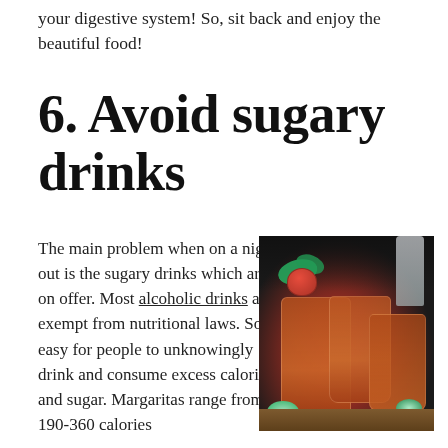your digestive system! So, sit back and enjoy the beautiful food!
6. Avoid sugary drinks
The main problem when on a night out is the sugary drinks which are on offer. Most alcoholic drinks are exempt from nutritional laws. So it's easy for people to unknowingly drink and consume excess calories and sugar. Margaritas range from 190-360 calories
[Figure (photo): Photo of cocktail drinks garnished with strawberries, mint leaves, lime slices in glasses on a wooden board, dark background]